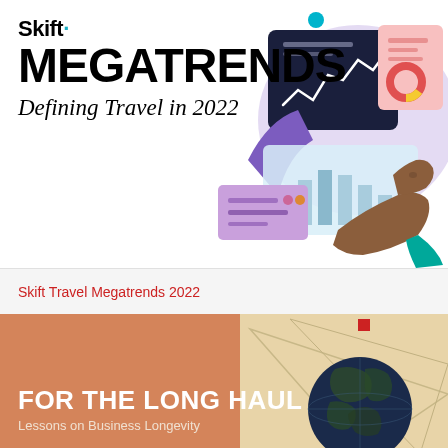Skift MEGATRENDS Defining Travel in 2022
[Figure (illustration): Person pointing at digital analytics dashboard with charts and graphs floating in the air]
Skift Travel Megatrends 2022
[Figure (illustration): Orange background section with globe illustration and geometric lines. Text: FOR THE LONG HAUL - Lessons on Business Longevity]